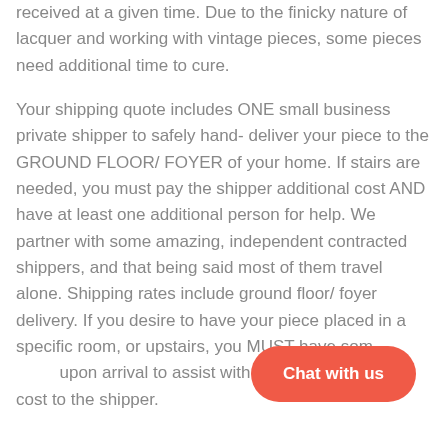received at a given time. Due to the finicky nature of lacquer and working with vintage pieces, some pieces need additional time to cure.
Your shipping quote includes ONE small business private shipper to safely hand- deliver your piece to the GROUND FLOOR/ FOYER of your home. If stairs are needed, you must pay the shipper additional cost AND have at least one additional person for help. We partner with some amazing, independent contracted shippers, and that being said most of them travel alone. Shipping rates include ground floor/ foyer delivery. If you desire to have your piece placed in a specific room, or upstairs, you MUST have someone there upon arrival to assist with moving at no additional cost to the shipper.
[Figure (other): Chat with us button (salmon/coral colored rounded pill button)]